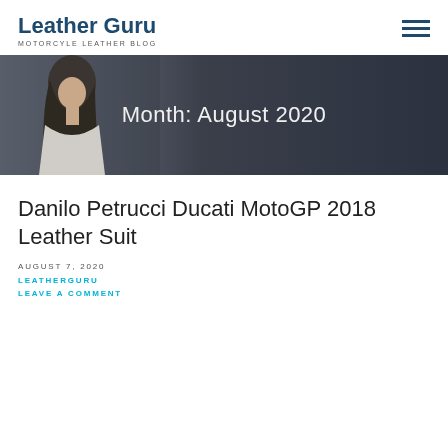Leather Guru — MOTORCYLE LEATHER BLOG
[Figure (photo): Hero banner image with a woman's silhouette on the left against a dark background, with text overlay 'Month: August 2020']
Month: August 2020
Danilo Petrucci Ducati MotoGP 2018 Leather Suit
AUGUST 7, 2020
LEATHERGURU
LEAVE A COMMENT